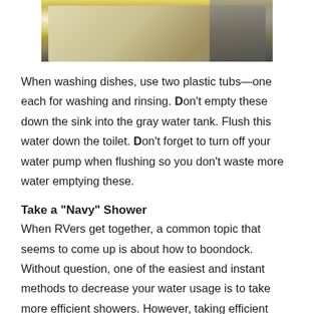[Figure (photo): Partial photo of two plastic tubs in a sink, with yellow/gold border visible at top of page, partially cropped]
When washing dishes, use two plastic tubs—one each for washing and rinsing. Don't empty these down the sink into the gray water tank. Flush this water down the toilet. Don't forget to turn off your water pump when flushing so you don't waste more water emptying these.
Take a “Navy” Shower
When RVers get together, a common topic that seems to come up is about how to boondock. Without question, one of the easiest and instant methods to decrease your water usage is to take more efficient showers. However, taking efficient showers does not